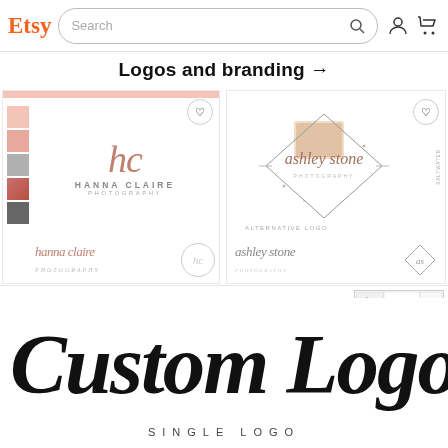Etsy — Search bar with navigation icons
Logos and branding →
[Figure (photo): Hanna Claire Photography logo branding kit product listing on Etsy — shows 'hc HANNA CLAIRE PHOTOGRAPHY' script logos with pink/grey colour swatches]
[Figure (photo): Ashley Stone Photography logo branding kit product listing on Etsy — shows 'ashley stone' script logos with rose-gold diamond geometric frame]
[Figure (photo): Custom Logo single logo product listing showing 'Custom Logo' in large brush-script font and 'SINGLE LOGO' in small spaced capitals. Small thumbnail of a saltwater brine product logo visible top-right.]